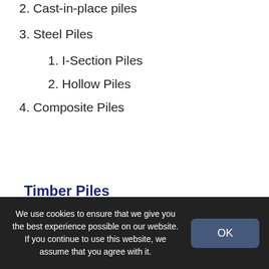2. Cast-in-place piles
3. Steel Piles
1. I-Section Piles
2. Hollow Piles
4. Composite Piles
Timber Piles
We use cookies to ensure that we give you the best experience possible on our website. If you continue to use this website, we assume that you agree with it.